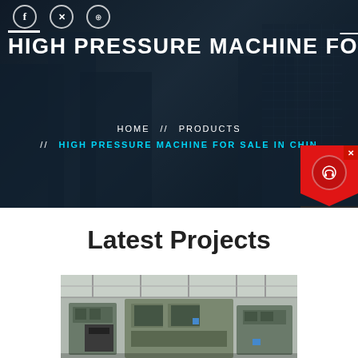[Figure (photo): Hero banner showing construction site with cranes and buildings at night with dark blue overlay, social media icons (Facebook, Twitter, Dribbble) at top left]
HIGH PRESSURE MACHINE FOR
HOME // PRODUCTS // HIGH PRESSURE MACHINE FOR SALE IN CHINA
[Figure (illustration): Chat Now widget on right side with red background, headset icon, and dark 'Chat Now' label]
Latest Projects
[Figure (photo): Industrial machinery photo showing high pressure machine equipment in a large facility]